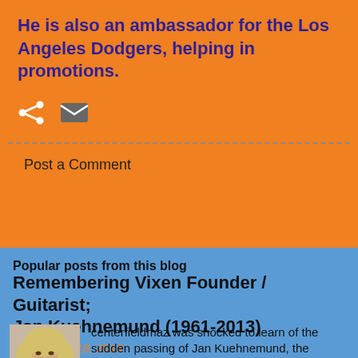He is also an ambassador for the Los Angeles Dodgers, helping in promotions.
[Figure (infographic): Share icon and email icon on orange background]
Post a Comment
Popular posts from this blog
Remembering Vixen Founder / Guitarist; Jan Kuehnemund (1961-2013)
November 18, 2013
[Figure (photo): Thumbnail photo of Jan Kuehnemund, blonde hair]
centerfieldmaz was shocked to learn of the sudden passing of Jan Kuehnemund, the